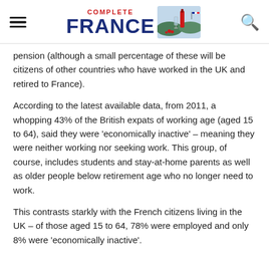Complete France
pension (although a small percentage of these will be citizens of other countries who have worked in the UK and retired to France).
According to the latest available data, from 2011, a whopping 43% of the British expats of working age (aged 15 to 64), said they were 'economically inactive' – meaning they were neither working nor seeking work. This group, of course, includes students and stay-at-home parents as well as older people below retirement age who no longer need to work.
This contrasts starkly with the French citizens living in the UK – of those aged 15 to 64, 78% were employed and only 8% were 'economically inactive'.